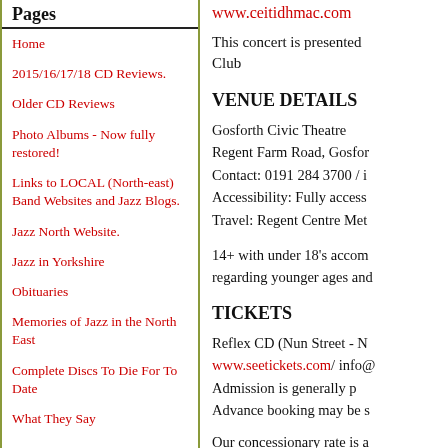Pages
Home
2015/16/17/18 CD Reviews.
Older CD Reviews
Photo Albums - Now fully restored!
Links to LOCAL (North-east) Band Websites and Jazz Blogs.
Jazz North Website.
Jazz in Yorkshire
Obituaries
Memories of Jazz in the North East
Complete Discs To Die For To Date
What They Say
www.ceitidhmac.com
This concert is presented Club
VENUE DETAILS
Gosforth Civic Theatre Regent Farm Road, Gosfo Contact: 0191 284 3700 / i Accessibility: Fully access Travel: Regent Centre Met
14+ with under 18's accom regarding younger ages and
TICKETS
Reflex CD (Nun Street - N www.seetickets.com/ info@ Admission is generally p Advance booking may be s
Our concessionary rate is a